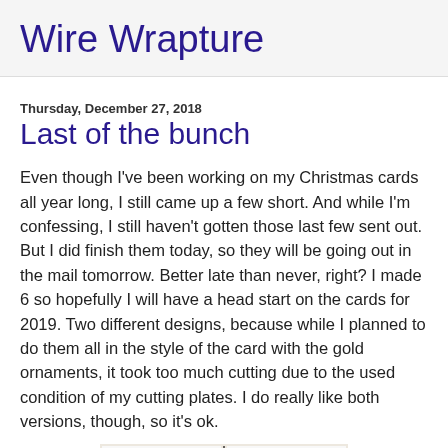Wire Wrapture
Thursday, December 27, 2018
Last of the bunch
Even though I've been working on my Christmas cards all year long, I still came up a few short.  And while I'm confessing, I still haven't gotten those last few sent out.  But I did finish them today, so they will be going out in the mail tomorrow.  Better late than never, right?  I made 6 so hopefully I will have a head start on the cards for 2019.  Two different designs, because while I planned to do them all in the style of the card with the gold ornaments, it took too much cutting due to the used condition of my cutting plates.  I do really like both versions, though, so it's ok.
[Figure (photo): Two Christmas card designs side by side: one with a red bow ornament design on white card, one with a black bow ornament design on a green background, separated by a vertical black line.]